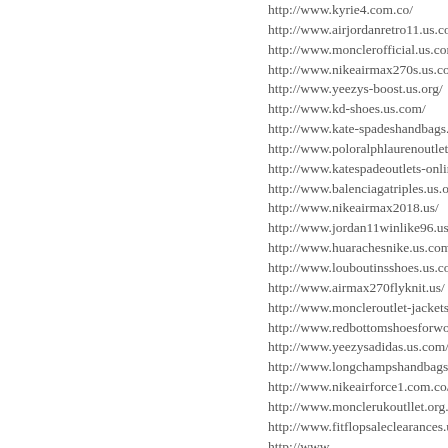http://www.kyrie4.com.co/
http://www.airjordanretro11.us.com/
http://www.monclerofficial.us.com/
http://www.nikeairmax270s.us.com/
http://www.yeezys-boost.us.org/
http://www.kd-shoes.us.com/
http://www.kate-spadeshandbags.us.com/
http://www.poloralphlaurenoutlet-store...
http://www.katespadeoutlets-online.us.c...
http://www.balenciagatriples.us.org/
http://www.nikeairmax2018.us/
http://www.jordan11winlike96.us/
http://www.huarachesnike.us.com/
http://www.louboutinsshoes.us.com/
http://www.airmax270flyknit.us/
http://www.moncleroutlet-jackets.us.co...
http://www.redbottomshoesforwomen.u...
http://www.yeezysadidas.us.com/
http://www.longchampshandbags.us.co...
http://www.nikeairforce1.com.co/
http://www.monclerukoutllet.org.uk/
http://www.fitflopsaleclearances.us.com...
http://www...